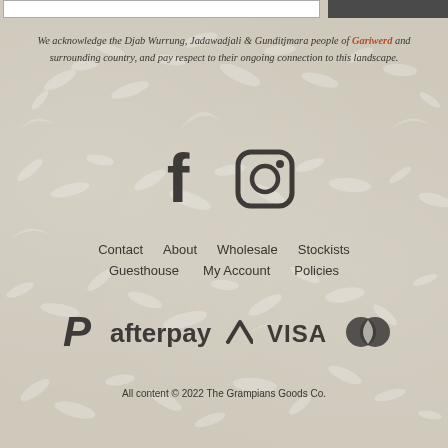We acknowledge the Djab Wurrung, Jadawadjali & Gunditjmara people of Gariwerd and surrounding country, and pay respect to their ongoing connection to this landscape.
[Figure (illustration): Facebook and Instagram social media icons in dark grey]
Contact   About   Wholesale   Stockists   Guesthouse   My Account   Policies
[Figure (illustration): Payment logos: PayPal, Afterpay, Visa, Mastercard]
All content © 2022 The Grampians Goods Co.